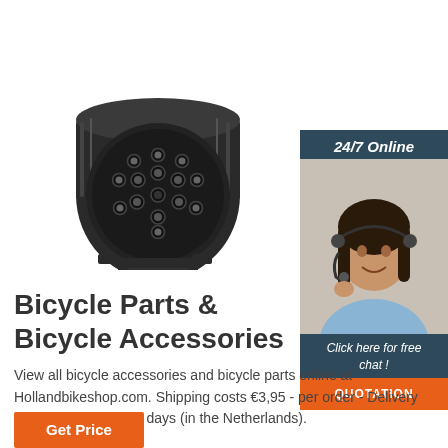[Figure (photo): Black plastic 13-pin trailer connector/plug, viewed from the front showing multiple round pin sockets arranged in a circular pattern, with a locking bracket at the bottom.]
[Figure (photo): Customer service agent, a woman with dark hair wearing a headset, smiling, with a '24/7 Online' banner and 'Click here for free chat!' text with a QUOTATION button.]
Bicycle Parts & Bicycle Accessories
View all bicycle accessories and bicycle parts online at Hollandbikeshop.com. Shipping costs €3,95 - per order - Delivery Time 1 to 2 business days (in the Netherlands).
Get Price